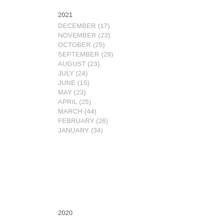2021
DECEMBER (17)
NOVEMBER (23)
OCTOBER (25)
SEPTEMBER (29)
AUGUST (23)
JULY (24)
JUNE (15)
MAY (23)
APRIL (25)
MARCH (44)
FEBRUARY (26)
JANUARY (34)
2020